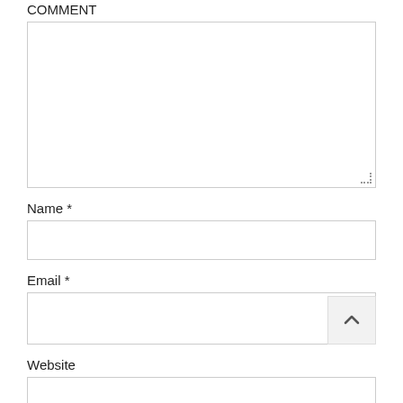[Figure (screenshot): A comment form with a large textarea, Name field with asterisk, Email field with asterisk, Website field, and a checkbox row starting with 'Save my name, email, and website in this browser for the'. A back-to-top button (chevron up) is overlaid near the Email field.]
Name *
Email *
Website
Save my name, email, and website in this browser for the